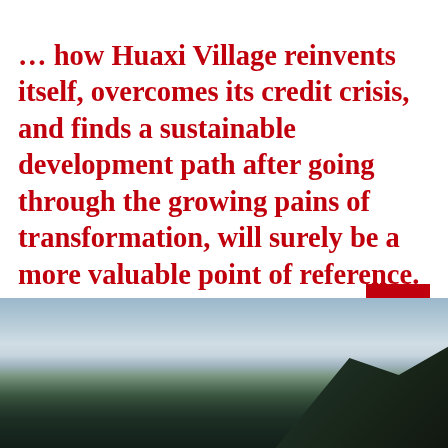... how Huaxi Village reinvents itself, overcomes its credit crisis, and finds a sustainable development path after going through the growing pains of transformation, will surely be a more valuable point of reference.
[Figure (photo): Landscape photograph showing mountains, hills covered with trees, and a blue-grey sky with haze or clouds.]